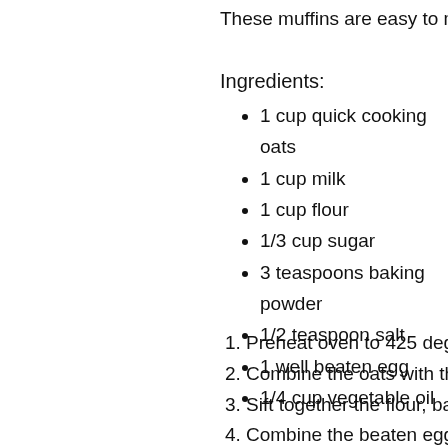These muffins are easy to make and
Ingredients:
1 cup quick cooking oats
1 cup milk
1 cup flour
1/3 cup sugar
3 teaspoons baking powder
1/2 teaspoon salt
1 well beaten egg
1/4 cup vegetable oil
1. Preheat oven to 425 degrees.
2. Combine the oats with the mil
3. Sift together the flour, baking p
4. Combine the beaten egg, oil, s
5. Add all at once to the sifted dr